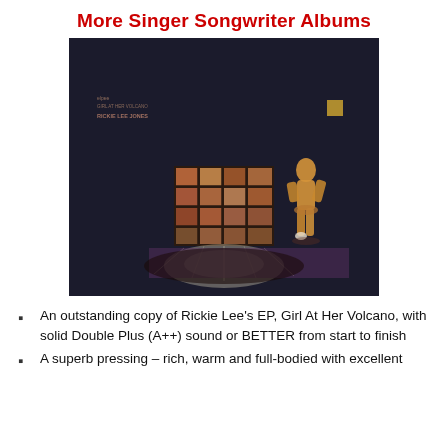More Singer Songwriter Albums
[Figure (photo): Album cover of Rickie Lee Jones EP 'Girl At Her Volcano' — dark background with a painted figure of a golden woman standing next to a grid window, light radiating outward]
An outstanding copy of Rickie Lee's EP, Girl At Her Volcano, with solid Double Plus (A++) sound or BETTER from start to finish
A superb pressing – rich, warm and full-bodied with excellent